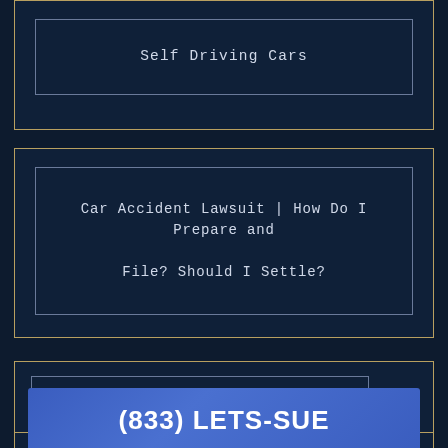Self Driving Cars
Car Accident Lawsuit | How Do I Prepare and File? Should I Settle?
What is California's Seatbelt Law?
(833) LETS-SUE